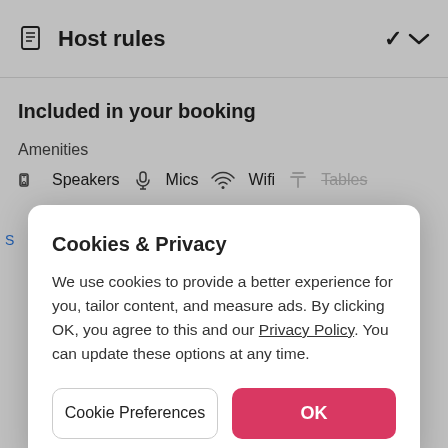Host rules
Included in your booking
Amenities
Speakers   Mics   Wifi   Tables
Cookies & Privacy
We use cookies to provide a better experience for you, tailor content, and measure ads. By clicking OK, you agree to this and our Privacy Policy. You can update these options at any time.
Cookie Preferences
OK